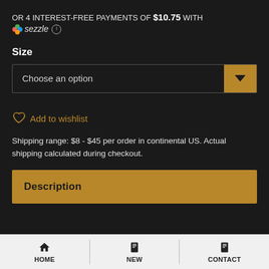OR 4 INTEREST-FREE PAYMENTS OF $10.75 WITH sezzle ℹ
Size
[Figure (screenshot): Dropdown selector showing 'Choose an option' with a gold/tan arrow button on the right]
Add to wishlist
Shipping range: $8 - $45 per order in continental US. Actual shipping calculated during checkout.
Description
HOME  NEW  CONTACT